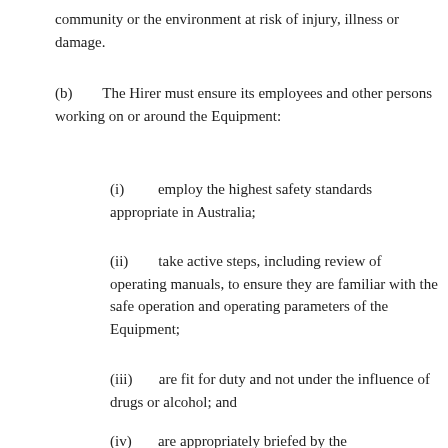community or the environment at risk of injury, illness or damage.
(b)       The Hirer must ensure its employees and other persons working on or around the Equipment:
(i)        employ the highest safety standards appropriate in Australia;
(ii)       take active steps, including review of operating manuals, to ensure they are familiar with the safe operation and operating parameters of the Equipment;
(iii)      are fit for duty and not under the influence of drugs or alcohol; and
(iv)      are appropriately briefed by the